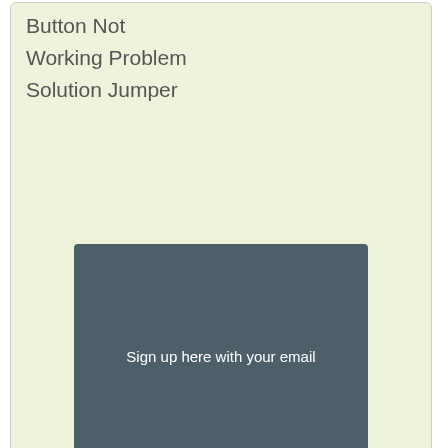Button Not
Working Problem
Solution Jumper
[Figure (screenshot): Email subscription widget with dark grey background, 'Sign up here with your email' heading, email input field with envelope icon and placeholder text, and a cyan 'Subscribe Now' button]
Disclaimer.We are not affiliate with cell phone companies like Nokia,Samsung,Sony Ericsson,Lg,Motorolo and some other etc